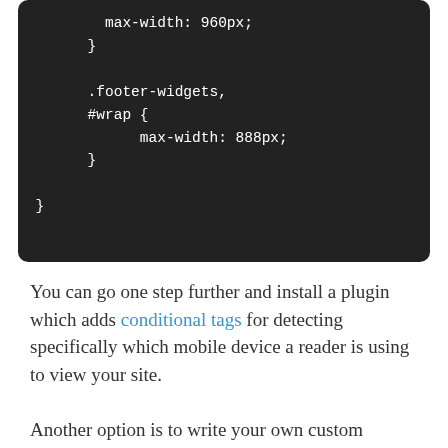[Figure (screenshot): Dark-themed code block showing CSS with max-width: 960px closing brace, .footer-widgets and #wrap selector with max-width: 888px, and outer closing brace]
You can go one step further and install a plugin which adds conditional tags for detecting specifically which mobile device a reader is using to view your site.
Another option is to write your own custom